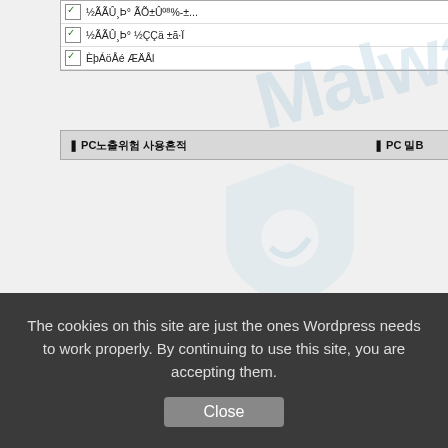[Figure (screenshot): Screenshot of a software UI panel (likely PrivacyCare or similar anti-malware tool) showing a list of items with checkboxes and counts, with a 'Malware' watermark and a blue shield logo overlay. Bottom shows panel tabs labeled in Korean characters.]
How do I remove PrivacyCare?
Visit our forums for detailed instructions. You can also get help there should you
And note that the full version of Malwarebytes' Anti-Malware could have protect against this threat.
We use different ways of protecting your computer(s):
Dynamically Blocks Malware Sites & Servers
Malware Execution Prevention
The cookies on this site are just the ones Wordpress needs to work properly. By continuing to use this site, you are accepting them.